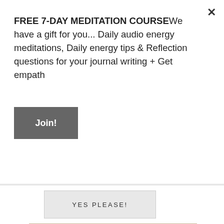FREE 7-DAY MEDITATION COURSEWe have a gift for you... Daily audio energy meditations, Daily energy tips & Reflection questions for your journal writing + Get empath
Join!
YES PLEASE!
[Figure (photo): Woman with hands raised in a meditation or yoga pose, hair in a bun, in an indoor studio setting with windows in the background]